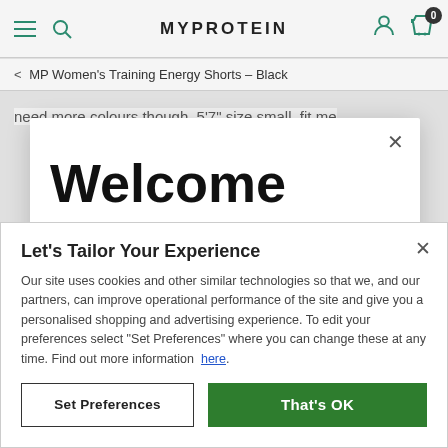MYPROTEIN
< MP Women's Training Energy Shorts – Black
need more colours though  5'7" size small, fit me
Welcome
Let's Tailor Your Experience
Our site uses cookies and other similar technologies so that we, and our partners, can improve operational performance of the site and give you a personalised shopping and advertising experience. To edit your preferences select "Set Preferences" where you can change these at any time. Find out more information  here.
Set Preferences   That's OK